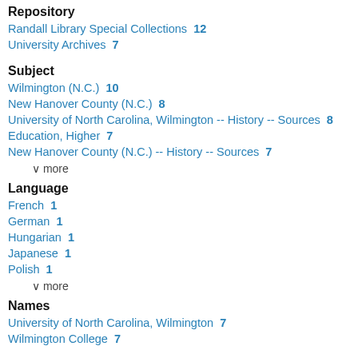Repository
Randall Library Special Collections  12
University Archives  7
Subject
Wilmington (N.C.)  10
New Hanover County (N.C.)  8
University of North Carolina, Wilmington -- History -- Sources  8
Education, Higher  7
New Hanover County (N.C.) -- History -- Sources  7
∨ more
Language
French  1
German  1
Hungarian  1
Japanese  1
Polish  1
∨ more
Names
University of North Carolina, Wilmington  7
Wilmington College  7